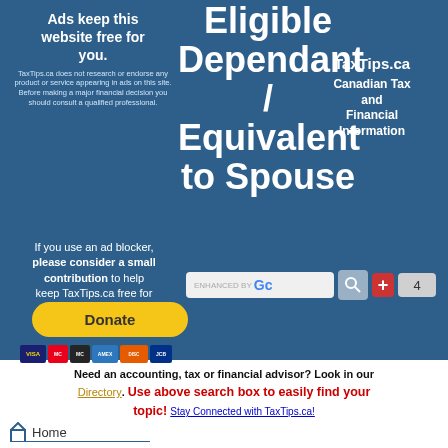Ads keep this website free for you.
TaxTips.ca does not research or endorse any product or service appearing in ads on this site. Before making a major financial decision you should consult a qualified professional.
Eligible Dependant / Equivalent to Spouse
TaxTips.ca Canadian Tax and Financial Information
If you use an ad blocker, please consider a small contribution to help keep TaxTips.ca free for everyone.
[Figure (other): Search bar with ENHANCED BY Google label, search icon, plus button, and number 4 button]
[Figure (other): Donate button with PayPal styling and payment card icons (VISA, Mastercard, Amex, Discover, JCB)]
Need an accounting, tax or financial advisor? Look in our Directory. Use above search box to easily find your topic! Stay Connected with TaxTips.ca!
Home